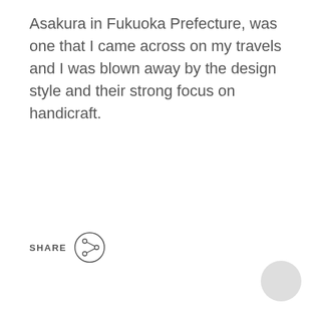Asakura in Fukuoka Prefecture, was one that I came across on my travels and I was blown away by the design style and their strong focus on handicraft.
[Figure (other): Share button with circular share icon (circle with three nodes connected by lines) next to the label SHARE]
[Figure (other): Light grey circular button in the bottom-right corner]